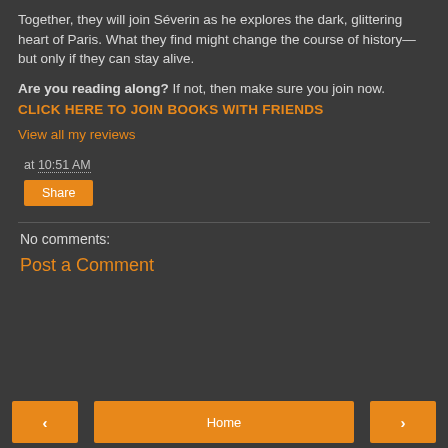Together, they will join Séverin as he explores the dark, glittering heart of Paris. What they find might change the course of history—but only if they can stay alive.
Are you reading along? If not, then make sure you join now.
CLICK HERE TO JOIN BOOKS WITH FRIENDS
View all my reviews
at 10:51 AM
Share
No comments:
Post a Comment
‹
Home
›